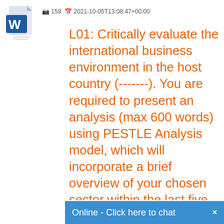[Figure (logo): Microsoft Word document icon — blue W on white page with folded corner]
159   2021-10-05T13:08:47+00:00
L01: Critically evaluate the international business environment in the host country (-------). You are required to present an analysis (max 600 words) using PESTLE Analysis model, which will incorporate a brief overview of your chosen sector within the last five years of the sector selected. In addition a company profile of the select...
Online - Click here to chat  ×